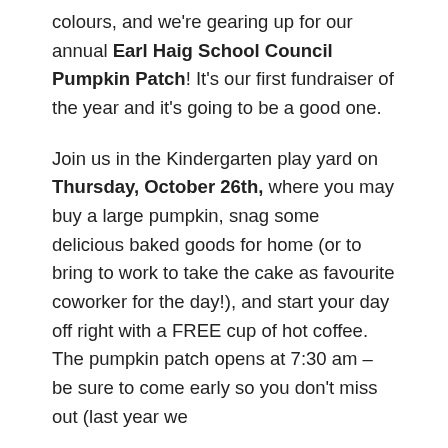colours, and we're gearing up for our annual Earl Haig School Council Pumpkin Patch! It's our first fundraiser of the year and it's going to be a good one.
Join us in the Kindergarten play yard on Thursday, October 26th, where you may buy a large pumpkin, snag some delicious baked goods for home (or to bring to work to take the cake as favourite coworker for the day!), and start your day off right with a FREE cup of hot coffee. The pumpkin patch opens at 7:30 am – be sure to come early so you don't miss out (last year we